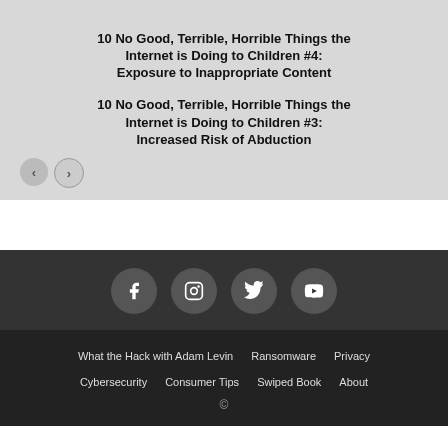10 No Good, Terrible, Horrible Things the Internet is Doing to Children #4: Exposure to Inappropriate Content
10 No Good, Terrible, Horrible Things the Internet is Doing to Children #3: Increased Risk of Abduction
[Figure (illustration): Navigation arrows (previous and next) for a slider/carousel]
[Figure (illustration): Social media icons: Facebook, Instagram, Twitter, YouTube in dark circular buttons]
What the Hack with Adam Levin
Ransomware
Privacy
Cybersecurity
Consumer Tips
Swiped Book
About
©